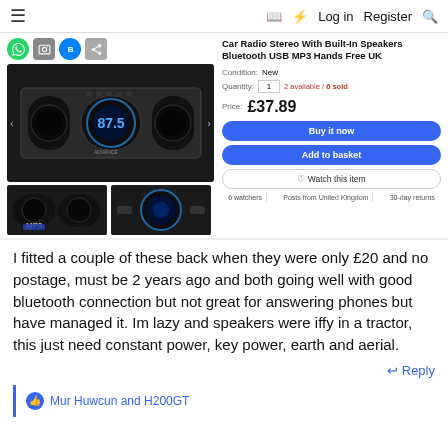≡  [book icon] [lightning icon]  Log in  Register  [search icon]
[Figure (screenshot): eBay product listing for Car Radio Stereo With Built-In Speakers Bluetooth USB MP3 Hands Free UK, priced at £37.89, showing product images, condition: New, quantity input, 2 available / 6 sold, Buy it now and Add to basket buttons, Watch this item button, 6 watchers, Posts from United Kingdom, 30-day returns]
I fitted a couple of these back when they were only £20 and no postage, must be 2 years ago and both going well with good bluetooth connection but not great for answering phones but have managed it. Im lazy and speakers were iffy in a tractor, this just need constant power, key power, earth and aerial.
↩ Reply
👍 Mur Huwcun and H200GT